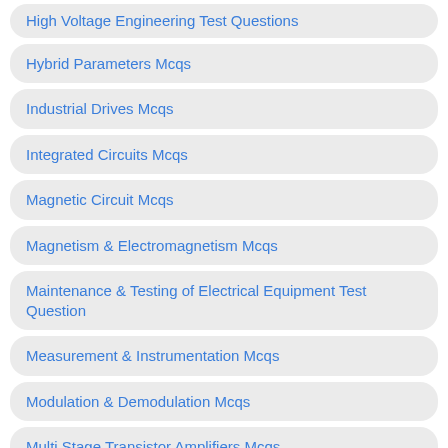High Voltage Engineering Test Questions
Hybrid Parameters Mcqs
Industrial Drives Mcqs
Integrated Circuits Mcqs
Magnetic Circuit Mcqs
Magnetism & Electromagnetism Mcqs
Maintenance & Testing of Electrical Equipment Test Question
Measurement & Instrumentation Mcqs
Modulation & Demodulation Mcqs
Multi Stage Transistor Amplifiers Mcqs